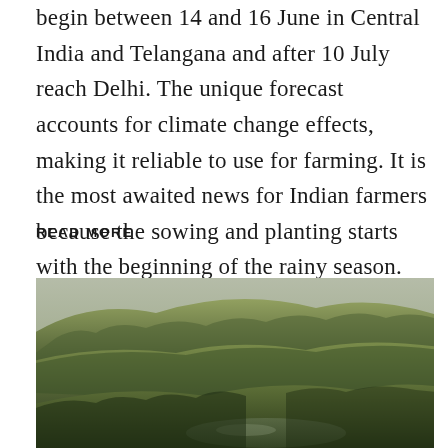begin between 14 and 16 June in Central India and Telangana and after 10 July reach Delhi. The unique forecast accounts for climate change effects, making it reliable to use for farming. It is the most awaited news for Indian farmers because the sowing and planting starts with the beginning of the rainy season.
READ MORE
[Figure (photo): Aerial photograph of rolling forested hills with a river or lake visible in the lower portion, lush green forest landscape]